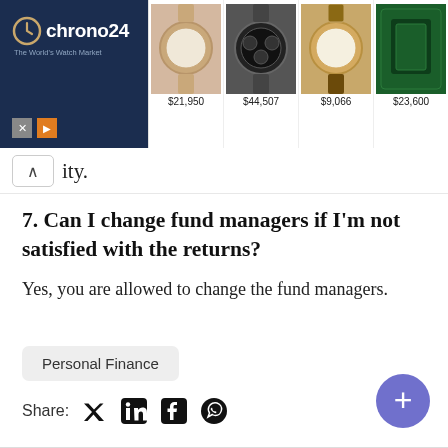[Figure (screenshot): Chrono24 advertisement banner showing luxury watches with prices: $21,950, $44,507, $9,066, $23,600]
ity.
7. Can I change fund managers if I'm not satisfied with the returns?
Yes, you are allowed to change the fund managers.
Personal Finance
Share: